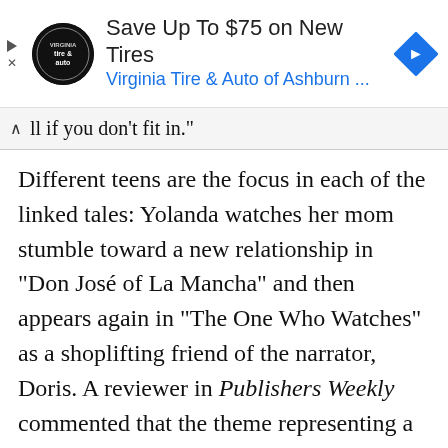[Figure (screenshot): Advertisement banner for Virginia Tire & Auto of Ashburn. Shows tire & auto logo, text 'Save Up To $75 on New Tires', subtitle 'Virginia Tire & Auto of Ashburn ...', and a blue diamond navigation arrow icon.]
ll if you don't fit in."
Different teens are the focus in each of the linked tales: Yolanda watches her mom stumble toward a new relationship in "Don José of La Mancha" and then appears again in "The One Who Watches" as a shoplifting friend of the narrator, Doris. A reviewer in Publishers Weekly commented that the theme representing a "struggle to transcend one's roots but never succeeding (nor really wanting to)—is explored with